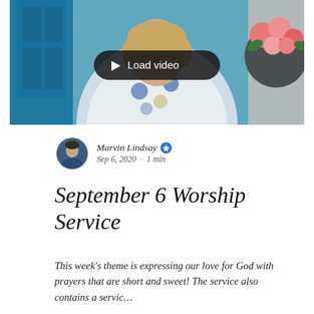[Figure (screenshot): Video thumbnail showing a woman standing outdoors in front of a teal/blue door with pink flowers in a pot on the right. A dark rounded pill-shaped button overlay reads 'Load video' with a play triangle icon.]
Marvin Lindsay · Sep 6, 2020 · 1 min
September 6 Worship Service
This week's theme is expressing our love for God with prayers that are short and sweet! The service also contains a servic…